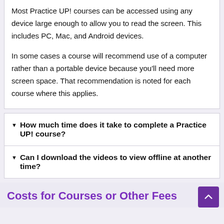Most Practice UP! courses can be accessed using any device large enough to allow you to read the screen. This includes PC, Mac, and Android devices.

In some cases a course will recommend use of a computer rather than a portable device because you'll need more screen space. That recommendation is noted for each course where this applies.
How much time does it take to complete a Practice UP! course?
Can I download the videos to view offline at another time?
Costs for Courses or Other Fees